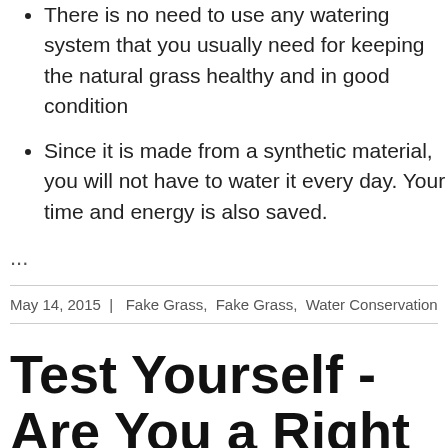There is no need to use any watering system that you usually need for keeping the natural grass healthy and in good condition
Since it is made from a synthetic material, you will not have to water it every day. Your time and energy is also saved.
...
May 14, 2015  |  Fake Grass,  Fake Grass,  Water Conservation,  Water
Test Yourself - Are You a Right Candidate to Install